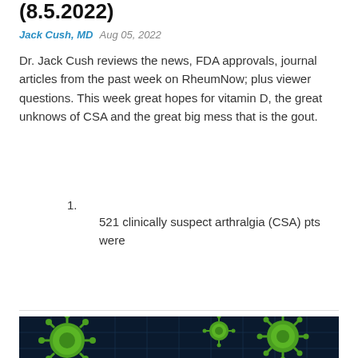(8.5.2022)
Jack Cush, MD   Aug 05, 2022
Dr. Jack Cush reviews the news, FDA approvals, journal articles from the past week on RheumNow; plus viewer questions. This week great hopes for vitamin D, the great unknows of CSA and the great big mess that is the gout.
1.
521 clinically suspect arthralgia (CSA) pts were
Read Article
[Figure (photo): Green virus/bacteria cells on dark blue background with grid pattern]